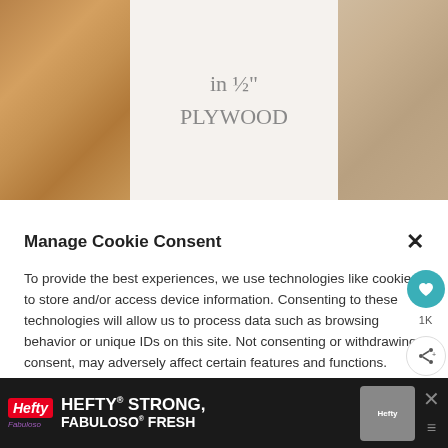[Figure (photo): Photo of wood flooring with a white paper sign in the center reading 'in 1/2 PLYWOOD' in handwritten text. Dark brown wood planks on the left, lighter wood on the right.]
Manage Cookie Consent
To provide the best experiences, we use technologies like cookies to store and/or access device information. Consenting to these technologies will allow us to process data such as browsing behavior or unique IDs on this site. Not consenting or withdrawing consent, may adversely affect certain features and functions.
Accept
Privacy Policy  Privacy Policy
[Figure (screenshot): Bottom advertisement bar for Hefty Strong and Fabuloso Fresh products with logos and product packaging image on dark background.]